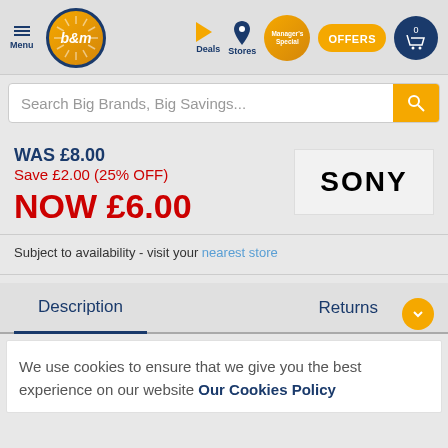B&M store website header with navigation: Menu, Deals, Stores, Manager's Special, OFFERS, cart (0)
Search Big Brands, Big Savings...
WAS £8.00
Save £2.00 (25% OFF)
NOW £6.00
[Figure (logo): SONY brand logo in grey box]
Subject to availability - visit your nearest store
Description
Returns
We use cookies to ensure that we give you the best experience on our website Our Cookies Policy